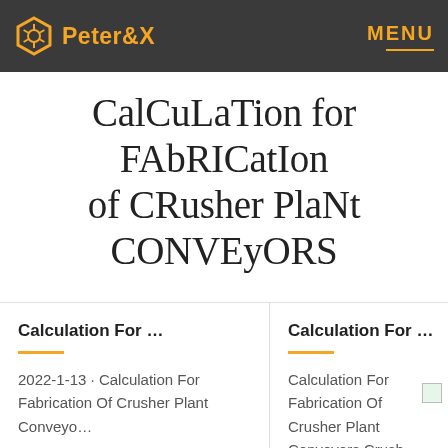Peter&X  MENU
CalCuLaTion for FAbRICatIon of CRusher PlaNt CONVEyORS
Calculation For ...
2022-1-13 · Calculation For Fabrication Of Crusher Plant Conveyo...
Calculation For ...
Calculation For Fabrication Of Crusher Plant Conveyors Crush...